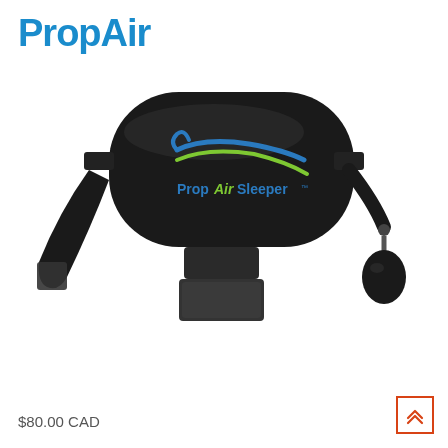PropAir
[Figure (photo): PropAir Sleeper product photo showing a black inflatable lumbar/travel pillow with a pump bulb and adjustable strap. The pillow has the PropAirSleeper logo printed on it in blue and green.]
$80.00 CAD